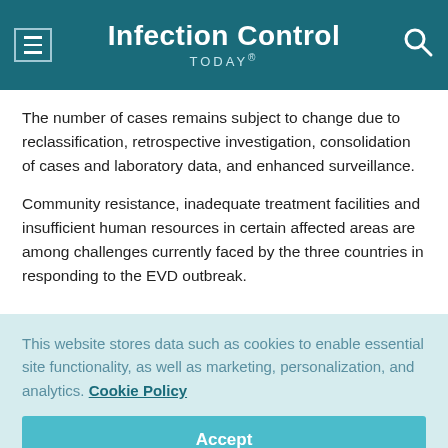Infection Control TODAY®
The number of cases remains subject to change due to reclassification, retrospective investigation, consolidation of cases and laboratory data, and enhanced surveillance.
Community resistance, inadequate treatment facilities and insufficient human resources in certain affected areas are among challenges currently faced by the three countries in responding to the EVD outbreak.
This website stores data such as cookies to enable essential site functionality, as well as marketing, personalization, and analytics. Cookie Policy
Accept
Deny